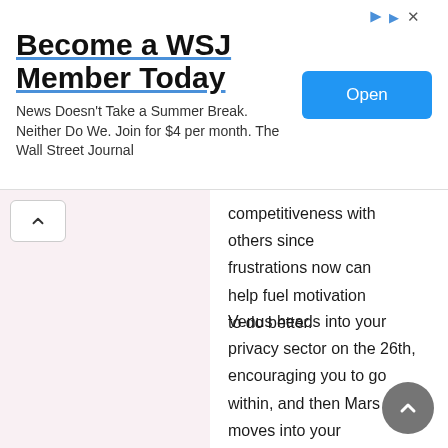[Figure (other): WSJ advertisement banner with title 'Become a WSJ Member Today', subtitle 'News Doesn't Take a Summer Break. Neither Do We. Join for $4 per month. The Wall Street Journal', and a blue 'Open' button]
competitiveness with others since frustrations now can help fuel motivation to do better.
Venus heads into your privacy sector on the 26th, encouraging you to go within, and then Mars moves into your communications sector on the 31st, enlivening your interest in connecting. These are different influences, but you can manage both well with some